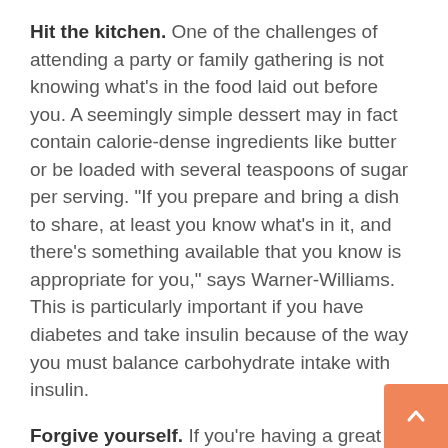Hit the kitchen. One of the challenges of attending a party or family gathering is not knowing what's in the food laid out before you. A seemingly simple dessert may in fact contain calorie-dense ingredients like butter or be loaded with several teaspoons of sugar per serving. “If you prepare and bring a dish to share, at least you know what’s in it, and there’s something available that you know is appropriate for you,” says Warner-Williams. This is particularly important if you have diabetes and take insulin because of the way you must balance carbohydrate intake with insulin.
Forgive yourself. If you’re having a great time catching up with family and friends at the table with great food, and you’t...